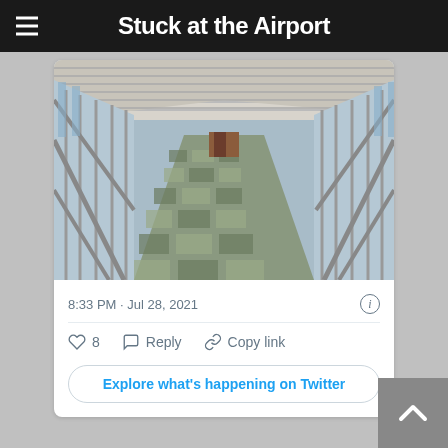Stuck at the Airport
[Figure (photo): Interior of an airport corridor with floor-to-ceiling glass windows on both sides, a slatted white ceiling, and a patterned green and grey carpet floor leading to a distant doorway.]
8:33 PM · Jul 28, 2021
♡ 8   Reply   Copy link
Explore what's happening on Twitter